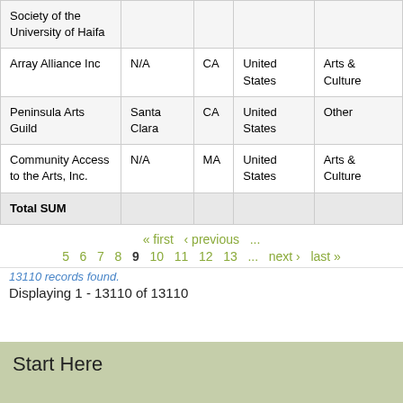| Organization | City | State | Country | Category |
| --- | --- | --- | --- | --- |
| Society of the University of Haifa |  |  |  |  |
| Array Alliance Inc | N/A | CA | United States | Arts & Culture |
| Peninsula Arts Guild | Santa Clara | CA | United States | Other |
| Community Access to the Arts, Inc. | N/A | MA | United States | Arts & Culture |
| Total SUM |  |  |  |  |
« first ‹ previous ...
5 6 7 8 9 10 11 12 13 ... next › last »
13110 records found.
Displaying 1 - 13110 of 13110
Start Here